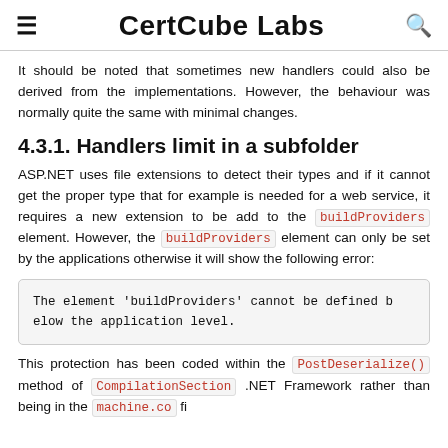CertCube Labs
It should be noted that sometimes new handlers could also be derived from the implementations. However, the behaviour was normally quite the same with minimal changes.
4.3.1. Handlers limit in a subfolder
ASP.NET uses file extensions to detect their types and if it cannot get the proper type that for example is needed for a web service, it requires a new extension to be add to the buildProviders element. However, the buildProviders element can only be set by the applications otherwise it will show the following error:
The element 'buildProviders' cannot be defined below the application level.
This protection has been coded within the PostDeserialize() method of CompilationSection .NET Framework rather than being in the machine.co fi...